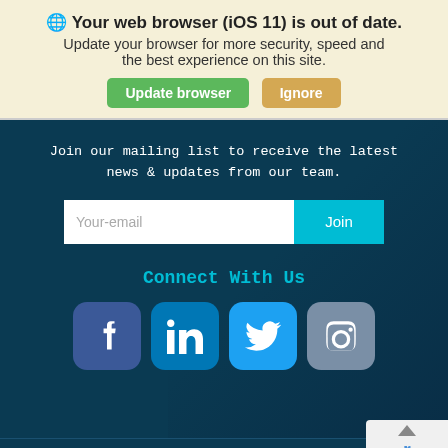🌐 Your web browser (iOS 11) is out of date. Update your browser for more security, speed and the best experience on this site.
[Figure (screenshot): Two buttons: green 'Update browser' and tan 'Ignore']
Join our mailing list to receive the latest news & updates from our team.
[Figure (screenshot): Email input field with 'Your-email' placeholder and a cyan 'Join' button]
Connect With Us
[Figure (screenshot): Four social media icons: Facebook, LinkedIn, Twitter, Instagram]
Copyright ©2022 Women in Corporate Aviation - Privacy Stat... Sitemap